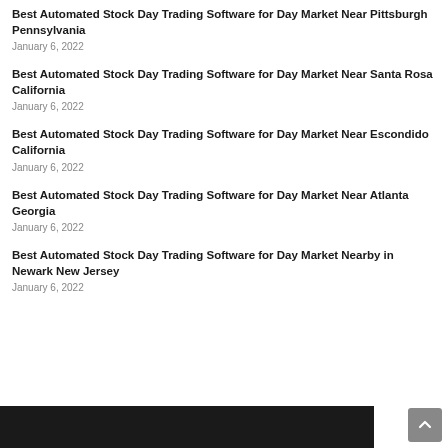Best Automated Stock Day Trading Software for Day Market Near Pittsburgh Pennsylvania
January 6, 2022
Best Automated Stock Day Trading Software for Day Market Near Santa Rosa California
January 6, 2022
Best Automated Stock Day Trading Software for Day Market Near Escondido California
January 6, 2022
Best Automated Stock Day Trading Software for Day Market Near Atlanta Georgia
January 6, 2022
Best Automated Stock Day Trading Software for Day Market Nearby in Newark New Jersey
January 6, 2022